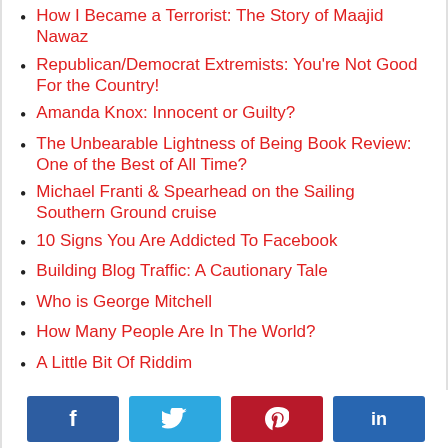How I Became a Terrorist: The Story of Maajid Nawaz
Republican/Democrat Extremists: You're Not Good For the Country!
Amanda Knox: Innocent or Guilty?
The Unbearable Lightness of Being Book Review: One of the Best of All Time?
Michael Franti & Spearhead on the Sailing Southern Ground cruise
10 Signs You Are Addicted To Facebook
Building Blog Traffic: A Cautionary Tale
Who is George Mitchell
How Many People Are In The World?
A Little Bit Of Riddim